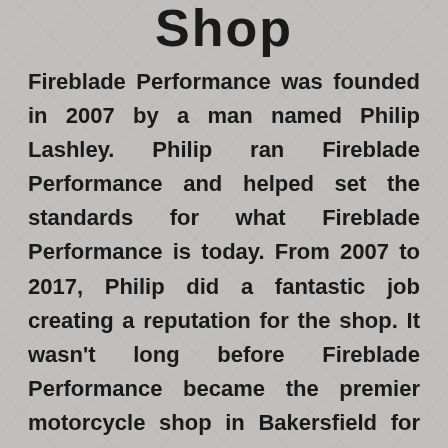Shop
Fireblade Performance was founded in 2007 by a man named Philip Lashley. Philip ran Fireblade Performance and helped set the standards for what Fireblade Performance is today. From 2007 to 2017, Philip did a fantastic job creating a reputation for the shop. It wasn't long before Fireblade Performance became the premier motorcycle shop in Bakersfield for all your motorcycle needs.
In 2017, Philip had some personal matters that led to him moving out of California to the East Coast. Before leaving California